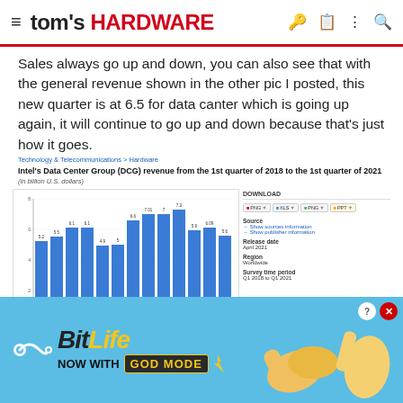tom's HARDWARE
Sales always go up and down, you can also see that with the general revenue shown in the other pic I posted, this new quarter is at 6.5 for data canter which is going up again, it will continue to go up and down because that's just how it goes.
Technology & Telecommunications > Hardware
Intel's Data Center Group (DCG) revenue from the 1st quarter of 2018 to the 1st quarter of 2021
(in billion U.S. dollars)
[Figure (bar-chart): Intel's Data Center Group (DCG) revenue Q1 2018 – Q1 2021]
[Figure (infographic): BitLife NOW WITH GOD MODE advertisement banner]